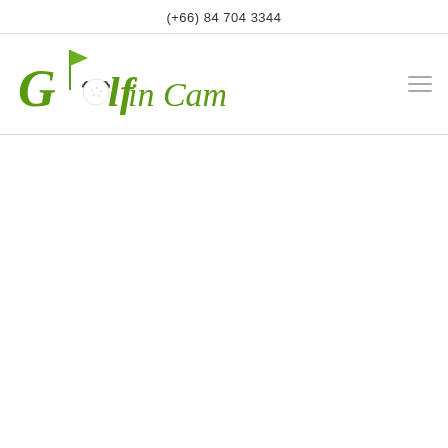(+66) 84 704 3344
[Figure (logo): Golf in Cambodia logo with green stylized text, golf ball, golf cap, and green flag]